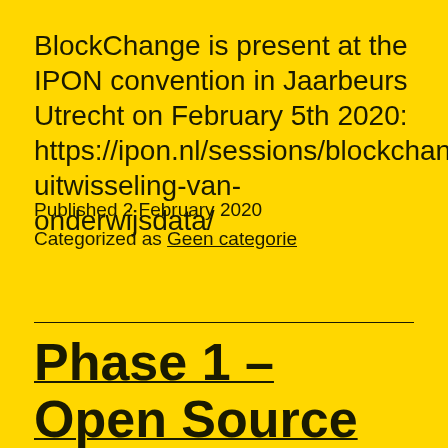BlockChange is present at the IPON convention in Jaarbeurs Utrecht on February 5th 2020: https://ipon.nl/sessions/blockchange-uitwisseling-van-onderwijsdata/
Published 2 February 2020
Categorized as Geen categorie
Phase 1 – Open Source